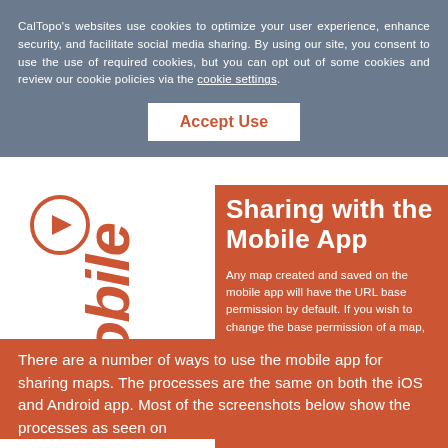CalTopo's websites use cookies to optimize your user experience, enhance security, and facilitate social media sharing. By using our site, you consent to use the use of required cookies, but you can opt out of some cookies and review our cookie policies via the cookie settings.
Accept Use
Sharing with the Mobile App
Any map created and saved on the mobile app will have the URL base permission by default. If you wish to change the base permission of a map, this must be done from the web; you cannot change the base permission of a map in the mobile app at this time.
There are a number of ways to use the mobile app for sharing maps. The processes are the same on both the iOS and Android app. Most of the screenshots below show the processes as seen on